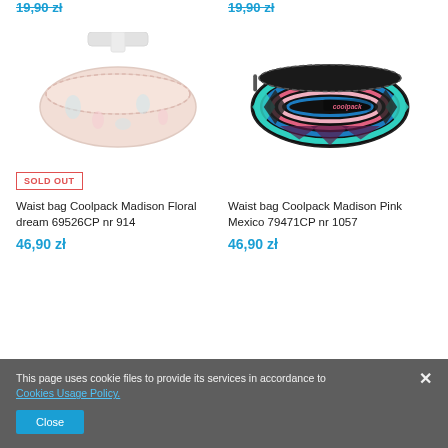19,90 zł (top-left, strikethrough)
19,90 zł (top-right, strikethrough)
[Figure (photo): Faded/sold-out waist bag Coolpack Madison Floral dream with pink floral pattern on light background]
[Figure (photo): Waist bag Coolpack Madison Pink Mexico with colorful geometric aztec pattern, black zipper, CoolPack logo]
SOLD OUT
Waist bag Coolpack Madison Floral dream 69526CP nr 914
Waist bag Coolpack Madison Pink Mexico 79471CP nr 1057
46,90 zł
46,90 zł
This page uses cookie files to provide its services in accordance to Cookies Usage Policy.
Close